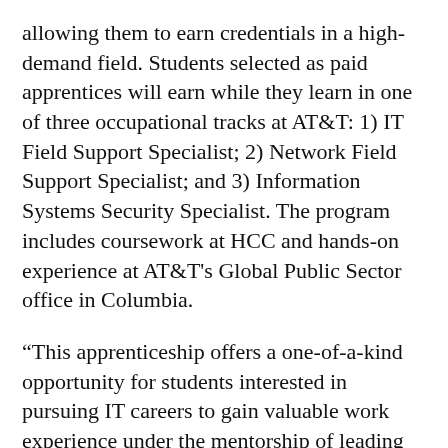allowing them to earn credentials in a high-demand field. Students selected as paid apprentices will earn while they learn in one of three occupational tracks at AT&T: 1) IT Field Support Specialist; 2) Network Field Support Specialist; and 3) Information Systems Security Specialist. The program includes coursework at HCC and hands-on experience at AT&T's Global Public Sector office in Columbia.
“This apprenticeship offers a one-of-a-kind opportunity for students interested in pursuing IT careers to gain valuable work experience under the mentorship of leading professionals in the field,” stated Knute Olson, client executive associate vice president, AT&T Global Public Sector.
HCC announced this apprenticeship in early October to students and community members. In approximately tw